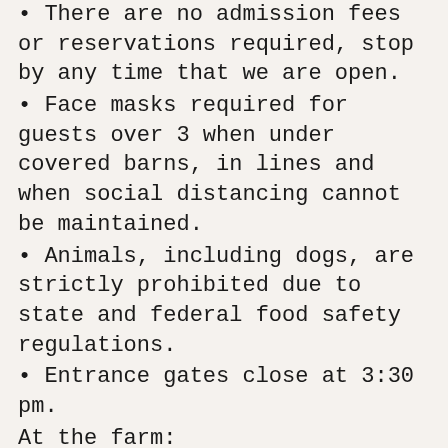There are no admission fees or reservations required, stop by any time that we are open.
Face masks required for guests over 3 when under covered barns, in lines and when social distancing cannot be maintained.
Animals, including dogs, are strictly prohibited due to state and federal food safety regulations.
Entrance gates close at 3:30 pm.
At the farm:
Fresh blueberry, peach, zinnia, and sunflower picking!
Food trucks (Updates coming soon).
Live music. (Updates coming soon).
Local craft beer, wine, hard seltzer, light beer, frozen concoctions and blueberry mimosas from The Beer Shed.
Donuts, blueberry cobbler, muffins and more